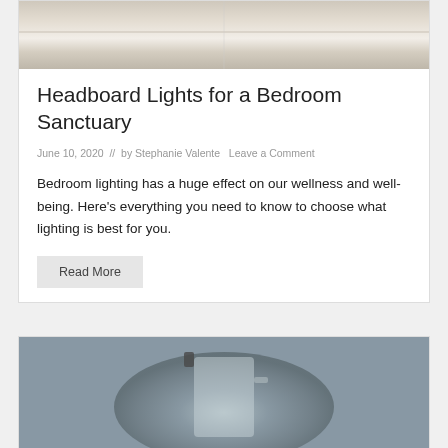[Figure (photo): Photo of a bed with white pillows and bedding, bedroom scene]
Headboard Lights for a Bedroom Sanctuary
June 10, 2020  //  by Stephanie Valente   Leave a Comment
Bedroom lighting has a huge effect on our wellness and well-being. Here's everything you need to know to choose what lighting is best for you.
Read More
[Figure (photo): Photo of a glass blender pitcher on a gray surface]